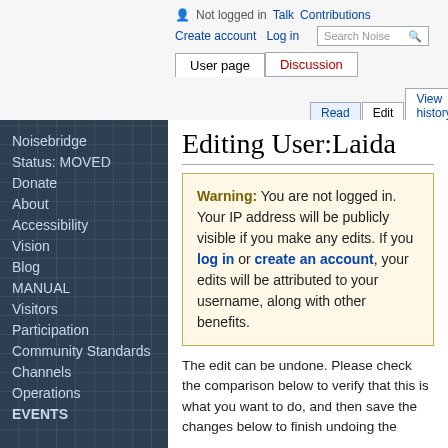Not logged in  Talk  Contributions  Create account  Log in
User page  Discussion  Read  Edit  View history
Editing User:Laida
Warning: You are not logged in. Your IP address will be publicly visible if you make any edits. If you log in or create an account, your edits will be attributed to your username, along with other benefits.
Noisebridge
Status: MOVED
Donate
About
Accessibility
Vision
Blog
MANUAL
Visitors
Participation
Community Standards
Channels
Operations
EVENTS
The edit can be undone. Please check the comparison below to verify that this is what you want to do, and then save the changes below to finish undoing the